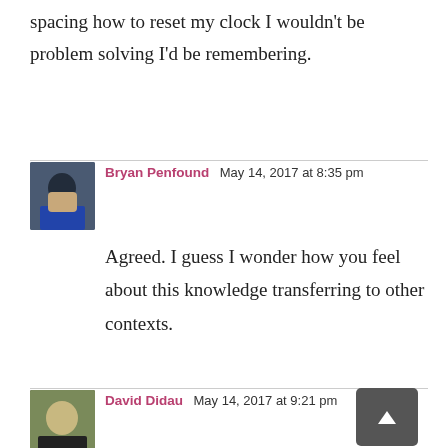spacing how to reset my clock I wouldn't be problem solving I'd be remembering.
[Figure (photo): Avatar photo of Bryan Penfound]
Bryan Penfound  May 14, 2017 at 8:35 pm
Agreed. I guess I wonder how you feel about this knowledge transferring to other contexts.
[Figure (photo): Avatar photo of David Didau]
David Didau  May 14, 2017 at 9:21 pm